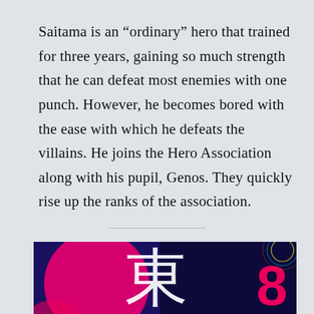Saitama is an “ordinary” hero that trained for three years, gaining so much strength that he can defeat most enemies with one punch. However, he becomes bored with the ease with which he defeats the villains. He joins the Hero Association along with his pupil, Genos. They quickly rise up the ranks of the association.
[Figure (illustration): Colorful anime-style illustration with deep blue and dark navy background, a large magenta/pink circle on the left, a large white kanji character 東 (East/Tokyo) in the center, the number 8 in bold pink on the right side, and decorative circular outlines in the top right corner.]